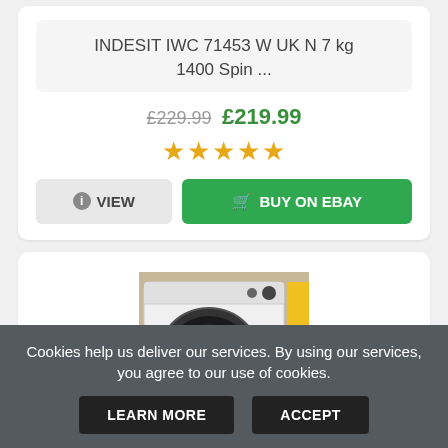INDESIT IWC 71453 W UK N 7 kg 1400 Spin ...
£229.99 £219.99
[Figure (other): Star rating showing approximately 4.5 out of 5 stars in gold/orange color]
VIEW
BUY ON EBAY
[Figure (photo): Photo of a white washing machine (Indesit model) with a black circular door, photographed from an angle, placed on a concrete floor with yellow equipment visible in background]
Cookies help us deliver our services. By using our services, you agree to our use of cookies.
LEARN MORE
ACCEPT